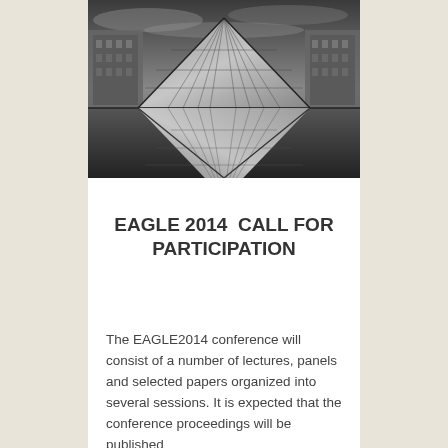[Figure (photo): Black and white photograph of the Louvre Pyramid in Paris, showing the glass pyramid structure reflected, with Haussmann-style buildings visible in the background under a dramatic cloudy sky.]
EAGLE 2014  CALL FOR PARTICIPATION
The EAGLE2014 conference will consist of a number of lectures, panels and selected papers organized into several sessions. It is expected that the conference proceedings will be published